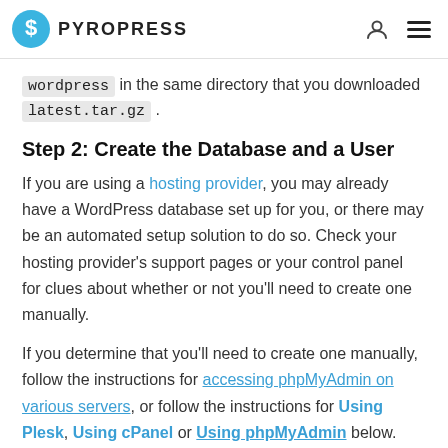PYROPRESS
wordpress in the same directory that you downloaded latest.tar.gz .
Step 2: Create the Database and a User
If you are using a hosting provider, you may already have a WordPress database set up for you, or there may be an automated setup solution to do so. Check your hosting provider's support pages or your control panel for clues about whether or not you'll need to create one manually.
If you determine that you'll need to create one manually, follow the instructions for accessing phpMyAdmin on various servers, or follow the instructions for Using Plesk, Using cPanel or Using phpMyAdmin below.